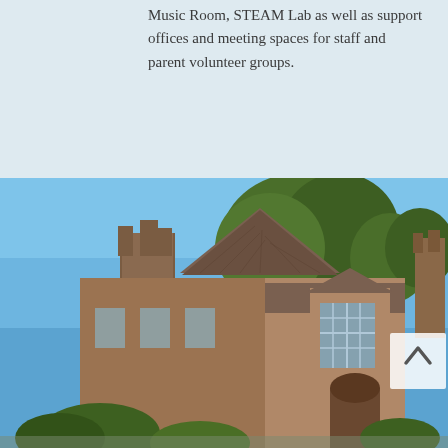Music Room, STEAM Lab as well as support offices and meeting spaces for staff and parent volunteer groups.
[Figure (photo): Exterior photograph of a historic brick school building with a steep gabled roof, tall brick chimneys, large multi-pane windows, and mature green trees against a clear blue sky.]